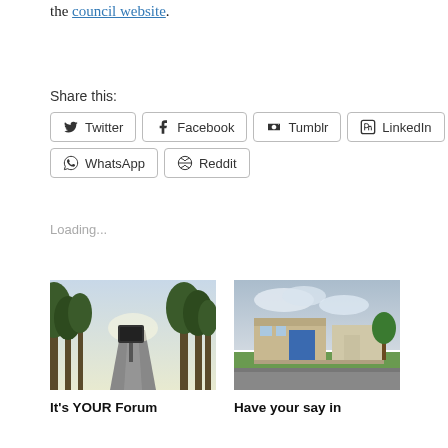the council website.
Share this:
Twitter  Facebook  Tumblr  LinkedIn  WhatsApp  Reddit
Loading...
[Figure (photo): A rural road with trees and a village entrance sign]
It's YOUR Forum
[Figure (photo): A community building with green lawn, cloudy sky]
Have your say in